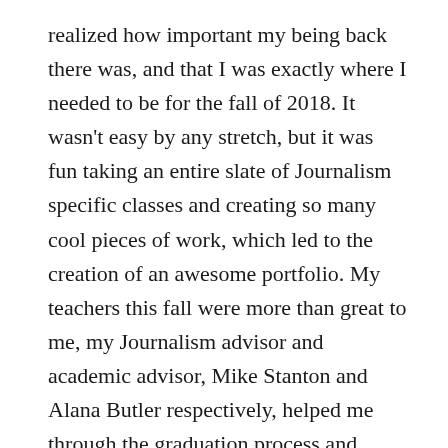realized how important my being back there was, and that I was exactly where I needed to be for the fall of 2018. It wasn't easy by any stretch, but it was fun taking an entire slate of Journalism specific classes and creating so many cool pieces of work, which led to the creation of an awesome portfolio. My teachers this fall were more than great to me, my Journalism advisor and academic advisor, Mike Stanton and Alana Butler respectively, helped me through the graduation process and approved my plan of study, and despite some incredibly shaky semesters in the past I was able to finish on a great note with UConn academically with a 3.0 GPA in six classes. It could not have gone any better.